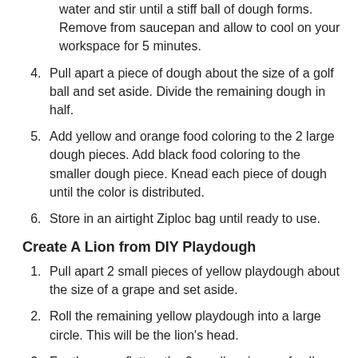(continued) water and stir until a stiff ball of dough forms. Remove from saucepan and allow to cool on your workspace for 5 minutes.
4. Pull apart a piece of dough about the size of a golf ball and set aside. Divide the remaining dough in half.
5. Add yellow and orange food coloring to the 2 large dough pieces. Add black food coloring to the smaller dough piece. Knead each piece of dough until the color is distributed.
6. Store in an airtight Ziploc bag until ready to use.
Create A Lion from DIY Playdough
1. Pull apart 2 small pieces of yellow playdough about the size of a grape and set aside.
2. Roll the remaining yellow playdough into a large circle. This will be the lion's head.
3. For the ears, flatten the 2 smaller pieces of yellow playdough and attach to the top of the